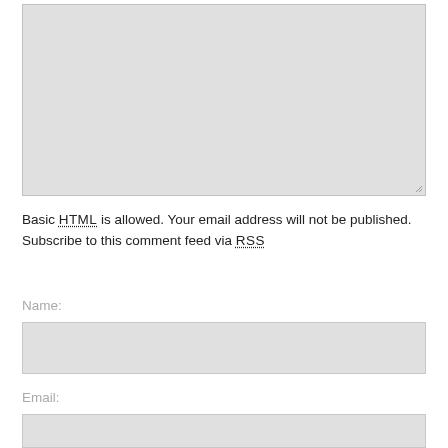[Figure (screenshot): A large empty textarea form field with a resize handle in the bottom-right corner, styled with a light gray background and border.]
Basic HTML is allowed. Your email address will not be published. Subscribe to this comment feed via RSS
Name:
[Figure (screenshot): A text input field for Name, styled with a light gray background and border.]
Email:
[Figure (screenshot): A text input field for Email, styled with a light gray background and border.]